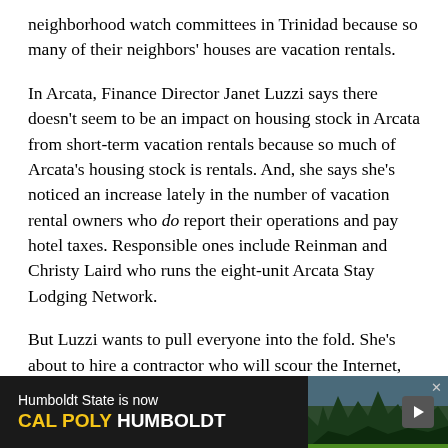neighborhood watch committees in Trinidad because so many of their neighbors' houses are vacation rentals.
In Arcata, Finance Director Janet Luzzi says there doesn't seem to be an impact on housing stock in Arcata from short-term vacation rentals because so much of Arcata's housing stock is rentals. And, she says she's noticed an increase lately in the number of vacation rental owners who do report their operations and pay hotel taxes. Responsible ones include Reinman and Christy Laird who runs the eight-unit Arcata Stay Lodging Network.
But Luzzi wants to pull everyone into the fold. She's about to hire a contractor who will scour the Internet, add up all the short-stay Arcata rentals, and compare them to a
[Figure (infographic): Advertisement banner for Cal Poly Humboldt (formerly Humboldt State). Dark background with white and gold text reading 'Humboldt State is now CAL POLY HUMBOLDT'. Right side shows a forest/campus image with a play button arrow.]